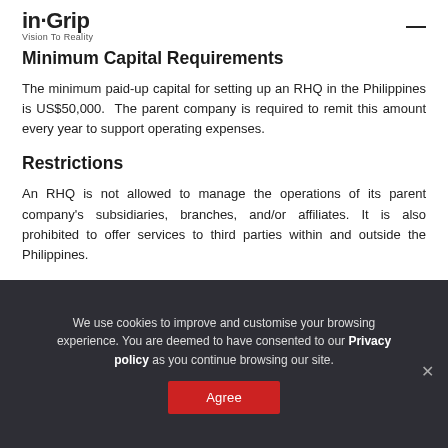in-Corp Vision To Reality
Minimum Capital Requirements
The minimum paid-up capital for setting up an RHQ in the Philippines is US$50,000. The parent company is required to remit this amount every year to support operating expenses.
Restrictions
An RHQ is not allowed to manage the operations of its parent company's subsidiaries, branches, and/or affiliates. It is also prohibited to offer services to third parties within and outside the Philippines.
We use cookies to improve and customise your browsing experience. You are deemed to have consented to our Privacy policy as you continue browsing our site.